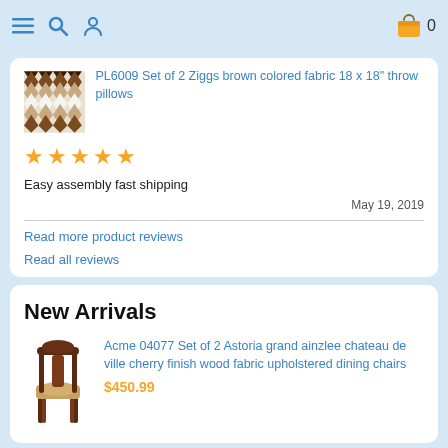☰ 🔍 👤  🛍 0
[Figure (photo): Zigzag/chevron patterned brown and white throw pillow]
PL6009 Set of 2 Ziggs brown colored fabric 18 x 18" throw pillows
[Figure (other): 5 gold star rating]
Easy assembly fast shipping
May 19, 2019
Read more product reviews
Read all reviews
New Arrivals
[Figure (photo): Wooden dining chair with upholstered seat]
Acme 04077 Set of 2 Astoria grand ainzlee chateau de ville cherry finish wood fabric upholstered dining chairs
$450.99